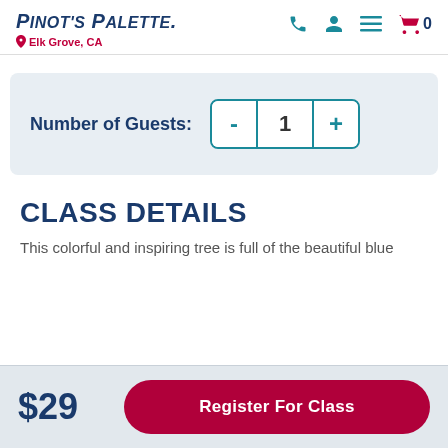Pinot's Palette — Elk Grove, CA
Number of Guests: 1
CLASS DETAILS
This colorful and inspiring tree is full of the beautiful blue
$29
Register For Class